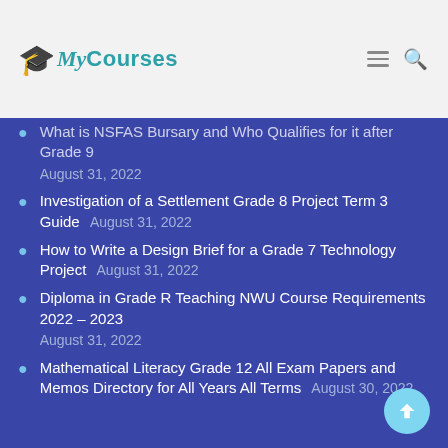My Courses
What is NSFAS Bursary and Who Qualifies for it after Grade 9  August 31, 2022
Investigation of a Settlement Grade 8 Project Term 3 Guide  August 31, 2022
How to Write a Design Brief for a Grade 7 Technology Project  August 31, 2022
Diploma in Grade R Teaching NWU Course Requirements 2022 – 2023  August 31, 2022
Mathematical Literacy Grade 12 All Exam Papers and Memos Directory for All Years All Terms  August 30, 2022